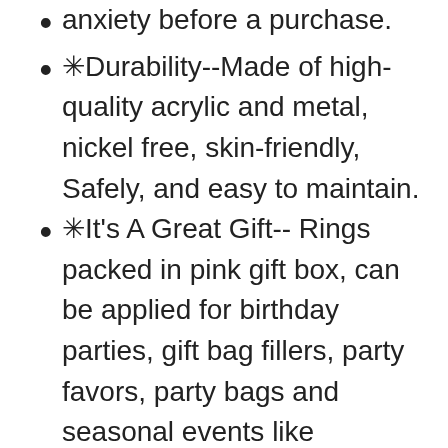anxiety before a purchase.
❋Durability--Made of high-quality acrylic and metal, nickel free, skin-friendly, Safely, and easy to maintain.
❋It's A Great Gift-- Rings packed in pink gift box, can be applied for birthday parties, gift bag fillers, party favors, party bags and seasonal events like Halloween, Christmas, dinosaur party decorations, goodie bags, girls party supplies.
❋Customer Service--All materials are manually sorted and extrusion